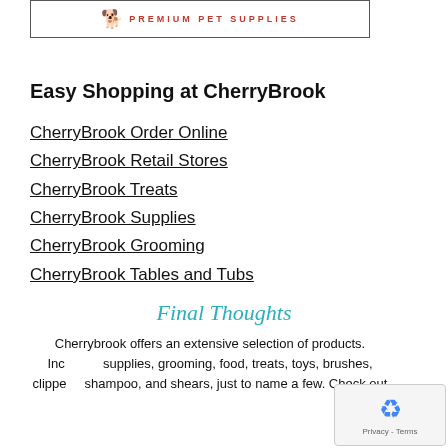[Figure (logo): CherryBrook Premium Pet Supplies logo with dog silhouette and text]
Easy Shopping at CherryBrook
CherryBrook Order Online
CherryBrook Retail Stores
CherryBrook Treats
CherryBrook Supplies
CherryBrook Grooming
CherryBrook Tables and Tubs
Final Thoughts
Cherrybrook offers an extensive selection of products. Including supplies, grooming, food, treats, toys, brushes, clippers, shampoo, and shears, just to name a few. Check out Cherrybrook.